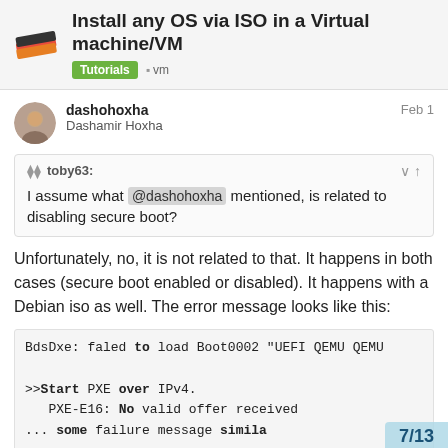Install any OS via ISO in a Virtual machine/VM — Tutorials · vm
dashohoxha
Dashamir Hoxha
Feb 1
toby63:
I assume what @dashohoxha mentioned, is related to disabling secure boot?
Unfortunately, no, it is not related to that. It happens in both cases (secure boot enabled or disabled). It happens with a Debian iso as well. The error message looks like this:
BdsDxe: faled to load Boot0002 "UEFI QEMU QEMU
>>Start PXE over IPv4.
   PXE-E16: No valid offer received
... some failure message simila
7/13